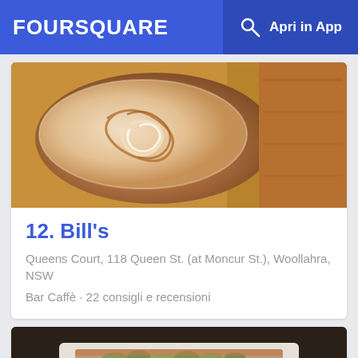FOURSQUARE   Apri in App
[Figure (photo): Close-up of a latte art coffee in a white cup on a wooden surface]
12. Bill's
Queens Court, 118 Queen St. (at Moncur St.), Woollahra, NSW
Bar Caffè · 22 consigli e recensioni
[Figure (photo): Pastry or food item with green toppings in a white paper tray]